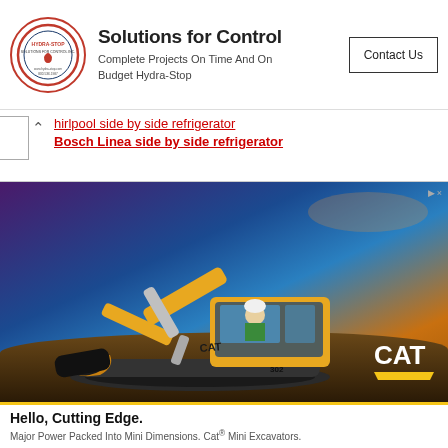[Figure (logo): Hydra-Stop circular logo with red border]
Solutions for Control
Complete Projects On Time And On Budget Hydra-Stop
Contact Us
whirlpool side by side refrigerator
Bosch Linea side by side refrigerator
[Figure (photo): CAT mini excavator on a construction site at dusk, operator in cab, yellow machine with CAT branding]
Hello, Cutting Edge.
Major Power Packed Into Mini Dimensions. Cat® Mini Excavators.